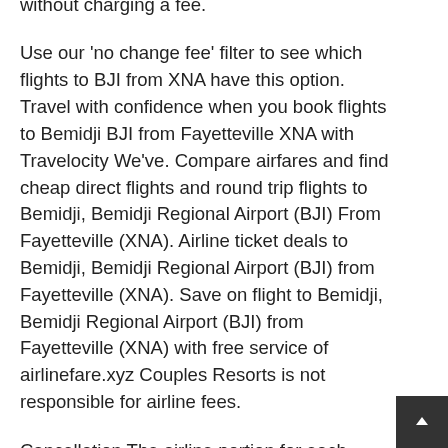flights to Bemidji BJI from Fayetteville XNA Some airlines let you change your travel dates without charging a fee.
Use our 'no change fee' filter to see which flights to BJI from XNA have this option. Travel with confidence when you book flights to Bemidji BJI from Fayetteville XNA with Travelocity We've. Compare airfares and find cheap direct flights and round trip flights to Bemidji, Bemidji Regional Airport (BJI) From Fayetteville (XNA). Airline ticket deals to Bemidji, Bemidji Regional Airport (BJI) from Fayetteville (XNA). Save on flight to Bemidji, Bemidji Regional Airport (BJI) from Fayetteville (XNA) with free service of airlinefare.xyz Couples Resorts is not responsible for airline fees.
Cancellation The airline portion for each guest's package is non-refundable. If a guest is unable to travel, he or she must contact the airline to avoid"no show' penalty. Otherwise, his/her air credit is valid up to one year from the date his/her airline ticket. (Please note, TV Ad Special room rates displayed online include discounts, but do not include taxes or OPTIONAL resort fees.) Radisson Rewards and/or MyTI Membership required.
Free enrollment upon booking reservation is valid. The TV Ad...